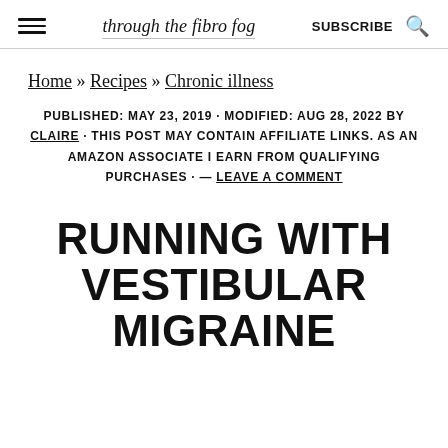through the fibro fog | SUBSCRIBE
Home » Recipes » Chronic illness
PUBLISHED: MAY 23, 2019 · MODIFIED: AUG 28, 2022 BY CLAIRE · THIS POST MAY CONTAIN AFFILIATE LINKS. AS AN AMAZON ASSOCIATE I EARN FROM QUALIFYING PURCHASES · — LEAVE A COMMENT
RUNNING WITH VESTIBULAR MIGRAINE